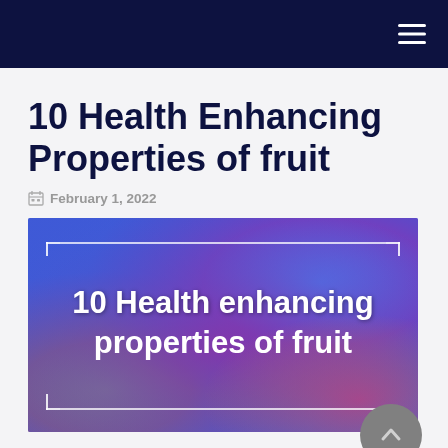Navigation bar with hamburger menu
10 Health Enhancing Properties of fruit
February 1, 2022
[Figure (illustration): Colorful abstract painted background with swirling orange, blue, purple, and pink hues. White overlay text reads '10 Health enhancing properties of fruit' with decorative corner bracket lines.]